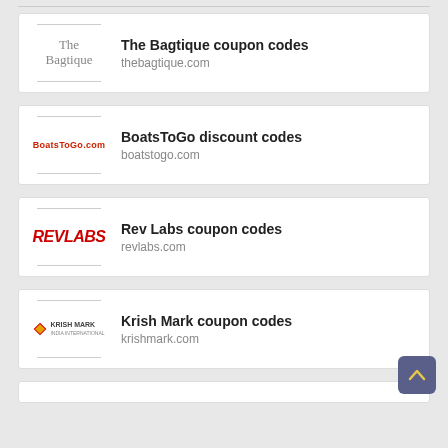[Figure (logo): The Bagtique logo - serif text]
The Bagtique coupon codes
thebagtique.com
[Figure (logo): BoatsToGo.com logo in red text]
BoatsToGo discount codes
boatstogo.com
[Figure (logo): REVLABS logo in red bold italic]
Rev Labs coupon codes
revlabs.com
[Figure (logo): Krish Mark logo with diamond icon]
Krish Mark coupon codes
krishmark.com